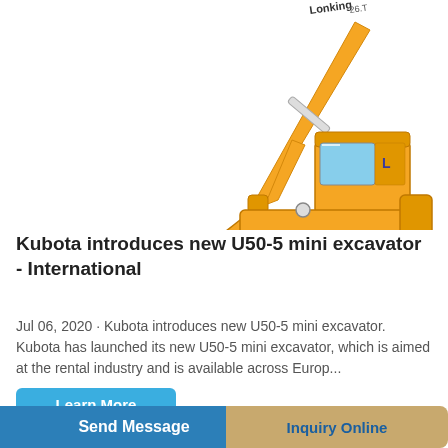[Figure (photo): Yellow Lonking brand crawler excavator on white background, showing boom, arm, bucket, cab, and tracks]
Kubota introduces new U50-5 mini excavator - International
Jul 06, 2020 · Kubota introduces new U50-5 mini excavator. Kubota has launched its new U50-5 mini excavator, which is aimed at the rental industry and is available across Europ...
Learn More
Send Message
Inquiry Online